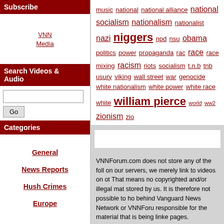Subscribe
VNN Media
Search Videos & Audio
Categories
General
News Reports
Hush Crimes
Europe
music national national alliance national socialism nationalism nationalist nazi niggers npd nsu obama politics power propaganda rac race race mixing racism riots socialism t.n.b tnb usury viking wall street war genocide white nationalism white power white race white william pierce world ww2 zionism zio
VNNForum.com does not store any of the following on our servers, we merely link to videos on other. That means no copyrighted and/or illegal material is stored by us. It is therefore not possible to hold those behind Vanguard News Network or VNNForum responsible for the material that is being linked on our pages.